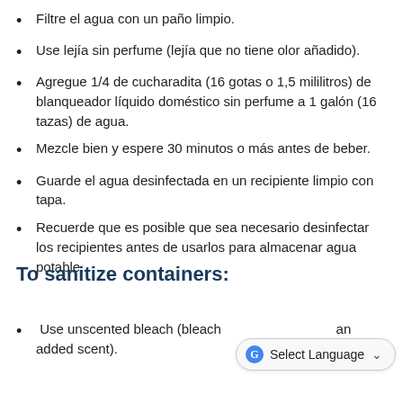Filtre el agua con un paño limpio.
Use lejía sin perfume (lejía que no tiene olor añadido).
Agregue 1/4 de cucharadita (16 gotas o 1,5 mililitros) de blanqueador líquido doméstico sin perfume a 1 galón (16 tazas) de agua.
Mezcle bien y espere 30 minutos o más antes de beber.
Guarde el agua desinfectada en un recipiente limpio con tapa.
Recuerde que es posible que sea necesario desinfectar los recipientes antes de usarlos para almacenar agua potable.
To sanitize containers:
Use unscented bleach (bleach that does not have an added scent).